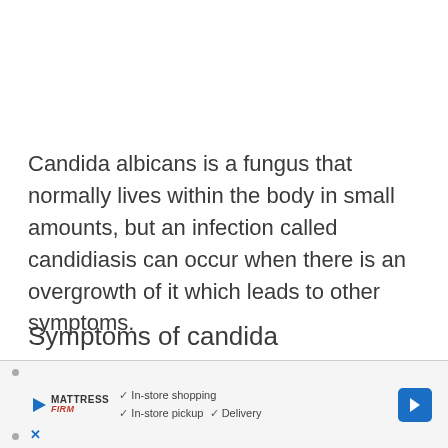Candida albicans is a fungus that normally lives within the body in small amounts, but an infection called candidiasis can occur when there is an overgrowth of it which leads to other symptoms.
Symptoms of candida overgrowth:
Dandruff
[Figure (other): Advertisement overlay showing Mattress Firm store with in-store shopping, in-store pickup, and delivery checkmarks, along with a navigation arrow icon and close button.]